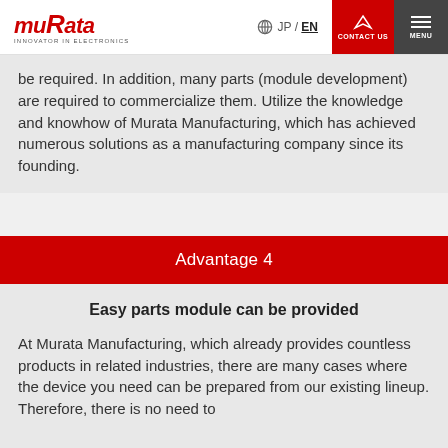muRata INNOVATOR IN ELECTRONICS | JP / EN | CONTACT US | MENU
be required. In addition, many parts (module development) are required to commercialize them. Utilize the knowledge and knowhow of Murata Manufacturing, which has achieved numerous solutions as a manufacturing company since its founding.
Advantage 4
Easy parts module can be provided
At Murata Manufacturing, which already provides countless products in related industries, there are many cases where the device you need can be prepared from our existing lineup. Therefore, there is no need to